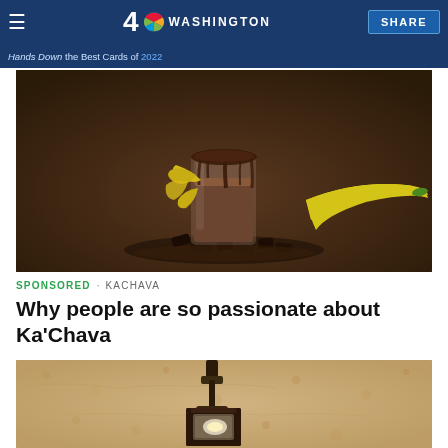NBC4 Washington
Hands Down the Best Cards of 2022
[Figure (photo): Chocolate smoothie/shake in a glass jar with banana pieces and chocolate chunks around it on a dark brown background]
SPONSORED · KACHAVA
Why people are so passionate about Ka'Chava
[Figure (photo): Outdoor wall-mounted lantern light fixture against a tan textured stucco wall, viewed from below]